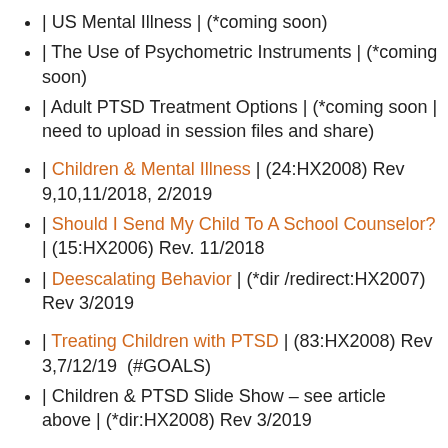| US Mental Illness | (*coming soon)
| The Use of Psychometric Instruments | (*coming soon)
| Adult PTSD Treatment Options | (*coming soon | need to upload in session files and share)
| Children & Mental Illness | (24:HX2008) Rev 9,10,11/2018, 2/2019
| Should I Send My Child To A School Counselor? | (15:HX2006) Rev. 11/2018
| Deescalating Behavior | (*dir /redirect:HX2007) Rev 3/2019
| Treating Children with PTSD | (83:HX2008) Rev 3,7/12/19  (#GOALS)
| Children & PTSD Slide Show – see article above | (*dir:HX2008) Rev 3/2019